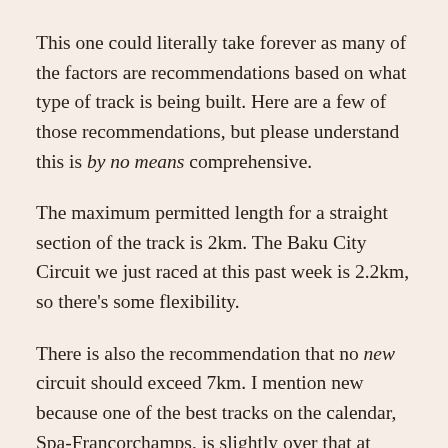This one could literally take forever as many of the factors are recommendations based on what type of track is being built. Here are a few of those recommendations, but please understand this is by no means comprehensive.
The maximum permitted length for a straight section of the track is 2km. The Baku City Circuit we just raced at this past week is 2.2km, so there's some flexibility.
There is also the recommendation that no new circuit should exceed 7km. I mention new because one of the best tracks on the calendar, Spa-Francorchamps, is slightly over that at 7.004km. The guideline is there to ensure we don't get another 25km long circuit like Pescara. (The 1957 Pescara Grand Prix took place in Pescara, Italy, and was won by Stirling Moss)